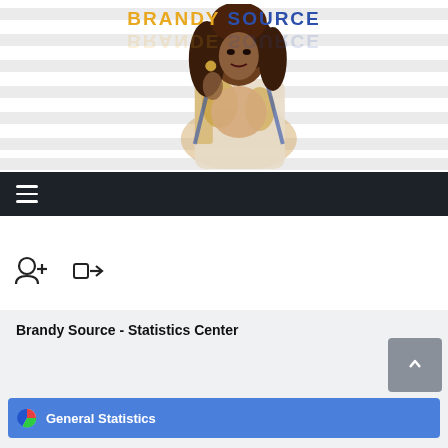[Figure (logo): Brandy Source website logo with person photo and text 'BRANDY SOURCE' in orange and blue]
[Figure (illustration): Navigation bar with hamburger menu icon on dark background]
[Figure (illustration): User add icon and login arrow icon]
Brandy Source - Statistics Center
General Statistics